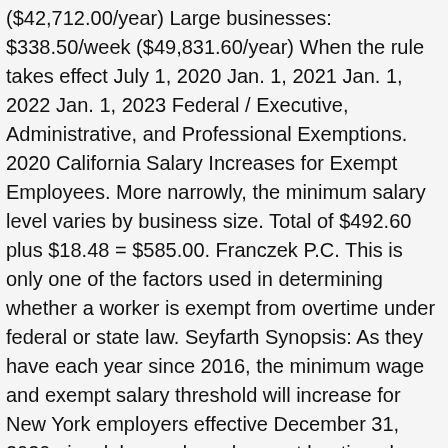($42,712.00/year) Large businesses: $338.50/week ($49,831.60/year) When the rule takes effect July 1, 2020 Jan. 1, 2021 Jan. 1, 2022 Jan. 1, 2023 Federal / Executive, Administrative, and Professional Exemptions. 2020 California Salary Increases for Exempt Employees. More narrowly, the minimum salary level varies by business size. Total of $492.60 plus $18.48 = $585.00. Franczek P.C. This is only one of the factors used in determining whether a worker is exempt from overtime under federal or state law. Seyfarth Synopsis: As they have each year since 2016, the minimum wage and exempt salary threshold will increase for New York employers effective December 31, 2020.. is a labor and employment boutique law firm representing private and public sector employers in all aspects of labor and employment law, including counseling and compliance, employment litigation, union-related matters, and employee benefits. This number was based on the 20 th percentile of weekly earnings for full-time salaried workers in the lowest income census region (currently the South). The final rule takes effect on January 1, 2020 and raises the current minimum salary